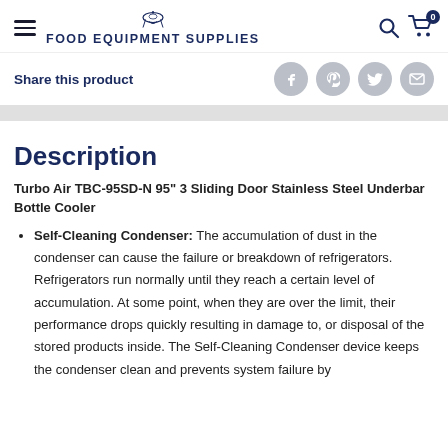FOOD EQUIPMENT SUPPLIES
Share this product
Description
Turbo Air TBC-95SD-N 95" 3 Sliding Door Stainless Steel Underbar Bottle Cooler
Self-Cleaning Condenser: The accumulation of dust in the condenser can cause the failure or breakdown of refrigerators. Refrigerators run normally until they reach a certain level of accumulation. At some point, when they are over the limit, their performance drops quickly resulting in damage to, or disposal of the stored products inside. The Self-Cleaning Condenser device keeps the condenser clean and prevents system failure by...